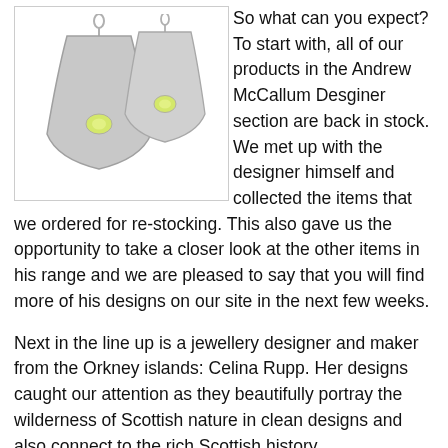[Figure (photo): Two silver earrings with a fan/trumpet shape and small yellow-green gemstone accent in the center of each, photographed on a white background.]
So what can you expect? To start with, all of our products in the Andrew McCallum Desginer section are back in stock. We met up with the designer himself and collected the items that we ordered for re-stocking. This also gave us the opportunity to take a closer look at the other items in his range and we are pleased to say that you will find more of his designs on our site in the next few weeks.
Next in the line up is a jewellery designer and maker from the Orkney islands: Celina Rupp. Her designs caught our attention as they beautifully portray the wilderness of Scottish nature in clean designs and also connect to the rich Scottish history.
Finally, from a remote corner of Scotland's mainland, meet Clare Hawley: Inspired by the wildlife surrounding her